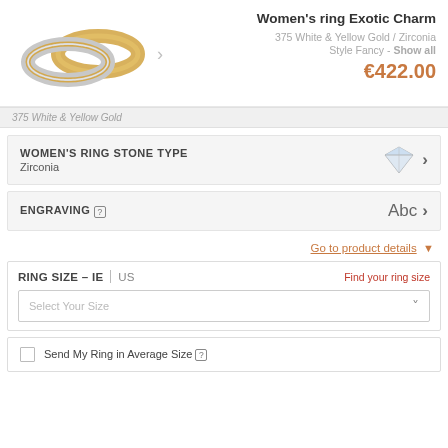[Figure (photo): Two women's rings - white and yellow gold band rings displayed side by side with a right-arrow navigation control]
Women's ring Exotic Charm
375 White & Yellow Gold / Zirconia
Style Fancy - Show all
€422.00
375 White & Yellow Gold
WOMEN'S RING STONE TYPE
Zirconia
ENGRAVING [?]
Go to product details ▼
RING SIZE – IE | US
Find your ring size
Select Your Size
Send My Ring in Average Size [?]